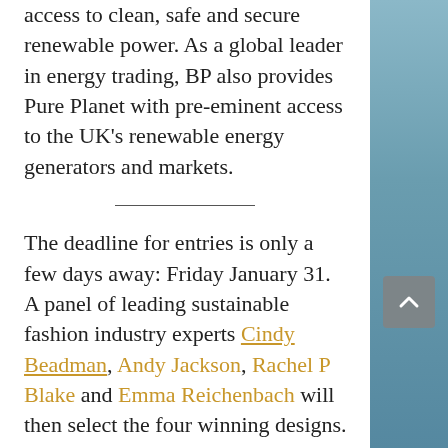access to clean, safe and secure renewable power. As a global leader in energy trading, BP also provides Pure Planet with pre-eminent access to the UK's renewable energy generators and markets.
The deadline for entries is only a few days away: Friday January 31. A panel of leading sustainable fashion industry experts Cindy Beadman, Andy Jackson, Rachel P Blake and Emma Reichenbach will then select the four winning designs.
Alongside picking four designs...